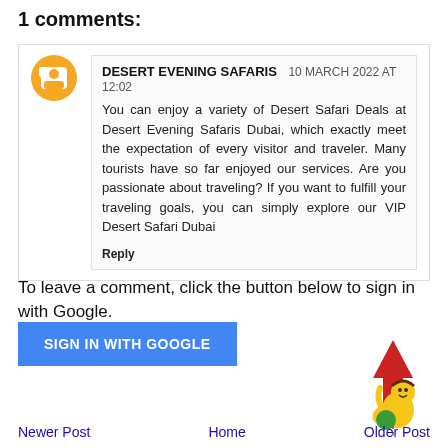1 comments:
DESERT EVENING SAFARIS  10 MARCH 2022 AT 12:02
You can enjoy a variety of Desert Safari Deals at Desert Evening Safaris Dubai, which exactly meet the expectation of every visitor and traveler. Many tourists have so far enjoyed our services. Are you passionate about traveling? If you want to fulfill your traveling goals, you can simply explore our VIP Desert Safari Dubai
Reply
To leave a comment, click the button below to sign in with Google.
SIGN IN WITH GOOGLE
[Figure (illustration): Cartoon character of a child hugging a red arrow pointing up, representing a back-to-top button]
Newer Post    Home    Older Post